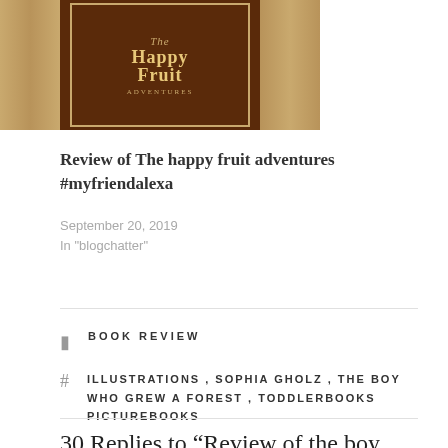[Figure (photo): Book cover of 'The Happy Fruit Adventures' displayed on what appears to be a wooden shelf background. The cover is dark brown with gold decorative text and border.]
Review of The happy fruit adventures #myfriendalexa
September 20, 2019
In "blogchatter"
BOOK REVIEW
ILLUSTRATIONS , SOPHIA GHOLZ , THE BOY WHO GREW A FOREST , TODDLERBOOKS PICTUREBOOKS
30 Replies to “Review of the boy who grew a forest”